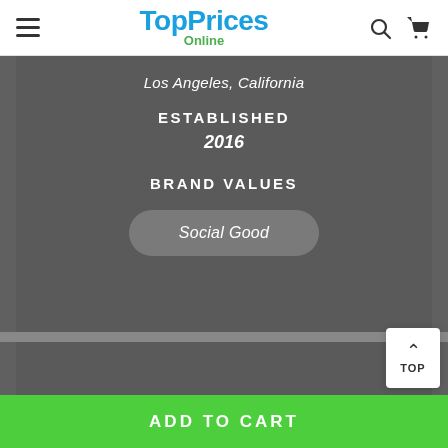TopPrices Online
Los Angeles, California
ESTABLISHED
2016
BRAND VALUES
Social Good
TOP
ADD TO CART